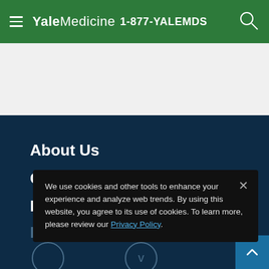Yale Medicine  1-877-YALEMDS
About Us
Contact Us
Donate
Referring Doctors
We use cookies and other tools to enhance your experience and analyze web trends. By using this website, you agree to its use of cookies. To learn more, please review our Privacy Policy.